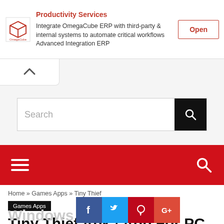[Figure (screenshot): OmegaCube ERP advertisement banner with logo, text about integrating with third-party and internal systems, and an Open button]
Productivity Services
Integrate OmegaCube ERP with third-party & internal systems to automate critical workflows Advanced Integration ERP
[Figure (screenshot): Search bar with search input field and black search button with magnifying glass icon]
[Figure (screenshot): Red navigation bar with hamburger menu icon on left and search icon on right]
Home » Games Apps » Tiny Thief
Games Apps
Tiny Thief Apk / App For PC
Windows Download